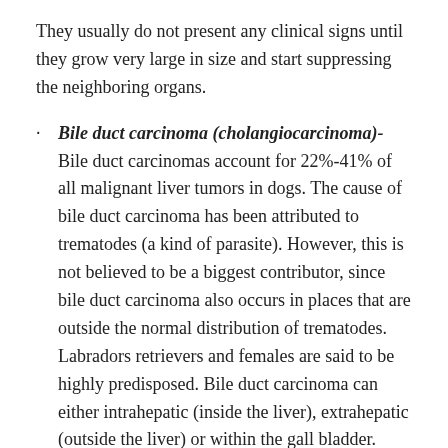They usually do not present any clinical signs until they grow very large in size and start suppressing the neighboring organs.
Bile duct carcinoma (cholangiocarcinoma)- Bile duct carcinomas account for 22%-41% of all malignant liver tumors in dogs. The cause of bile duct carcinoma has been attributed to trematodes (a kind of parasite). However, this is not believed to be a biggest contributor, since bile duct carcinoma also occurs in places that are outside the normal distribution of trematodes. Labradors retrievers and females are said to be highly predisposed. Bile duct carcinoma can either intrahepatic (inside the liver), extrahepatic (outside the liver) or within the gall bladder. Intrahepatic tumors are common in dogs. They are usually proliferative with metastasis occurring in 88% of cases. The disease spread to the